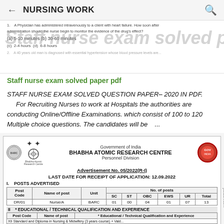← NURSING WORK 🔍
[Figure (screenshot): Screenshot of an exam question paper showing partial text about a nurse administering medication and monitoring drug effects. Options: (a) 5-10 minutes (b) 30-60 minutes (c) 2-4 hours (d) 6-8 hours. Watermark overlay: 'Staff nurse exam solved paper pdf']
Staff nurse exam solved paper pdf
STAFF NURSE EXAM SOLVED QUESTION PAPER– 2020 IN PDF. For Recruiting Nurses to work at Hospitals the authorities are conducting Online/Offline Examinations. which consist of 100 to 120 Multiple choice questions. The candidates will be ...
[Figure (screenshot): Government of India, Bhabha Atomic Research Centre, Personnel Division. Advertisement No. 05/2022(R-I). Last Date for Receipt of Application: 12.09.2022. Table of posts advertised: DR/01 Nurse/A, BARC, SC:01, ST:00, OBC:04, EWS:01, UR:07, Total:13. Section II: Educational/Technical Qualification and Experience table header row.]